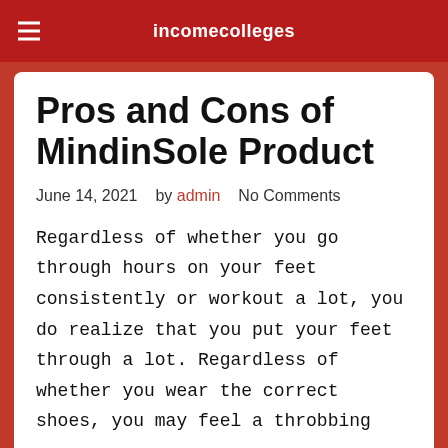incomecolleges
Pros and Cons of MindinSole Product
June 14, 2021   by admin   No Comments
Regardless of whether you go through hours on your feet consistently or workout a lot, you do realize that you put your feet through a lot. Regardless of whether you wear the correct shoes, you may feel a throbbing